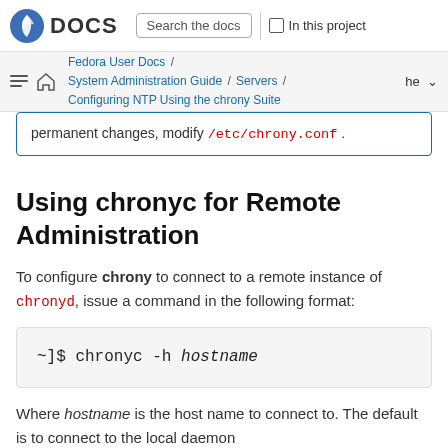Fedora DOCS | Search the docs | In this project
Fedora User Docs / System Administration Guide / Servers / Configuring NTP Using the chrony Suite | he
permanent changes, modify /etc/chrony.conf .
Using chronyc for Remote Administration
To configure chrony to connect to a remote instance of chronyd, issue a command in the following format:
~]$ chronyc -h hostname
Where hostname is the host name to connect to. The default is to connect to the local daemon